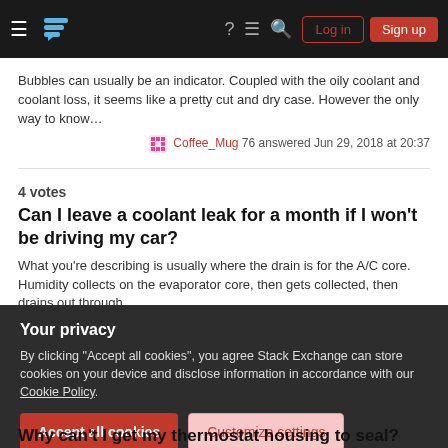Stack Exchange navigation bar with hamburger menu, logo, help, chat, search, Log in, Sign up
Bubbles can usually be an indicator. Coupled with the oily coolant and coolant loss, it seems like a pretty cut and dry case. However the only way to know…
Coffee_Mug 76 answered Jun 29, 2018 at 20:37
4 votes
Can I leave a coolant leak for a month if I won't be driving my car?
What you're describing is usually where the drain is for the A/C core. Humidity collects on the evaporator core, then gets collected, then drains out through…
Paulster2 ◆ 141k answered Oct 5, 2019 at 1:12
4 votes
Your privacy
By clicking "Accept all cookies", you agree Stack Exchange can store cookies on your device and disclose information in accordance with our Cookie Policy.
Accept all cookies
Customize settings
Why can't I get my thermostat housing to seal?